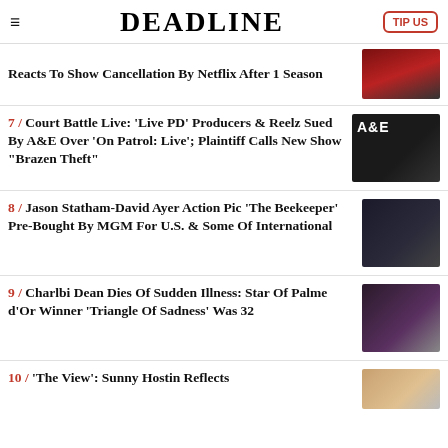DEADLINE — TIP US
Reacts To Show Cancellation By Netflix After 1 Season
7 / Court Battle Live: 'Live PD' Producers & Reelz Sued By A&E Over 'On Patrol: Live'; Plaintiff Calls New Show "Brazen Theft"
8 / Jason Statham-David Ayer Action Pic 'The Beekeeper' Pre-Bought By MGM For U.S. & Some Of International
9 / Charlbi Dean Dies Of Sudden Illness: Star Of Palme d'Or Winner 'Triangle Of Sadness' Was 32
10 / 'The View': Sunny Hostin Reflects